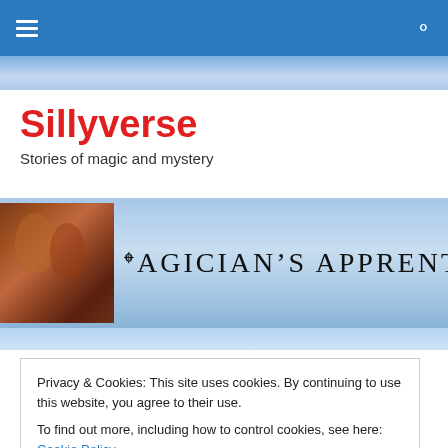Navigation bar with menu and search icons
Sillyverse
Stories of magic and mystery
[Figure (illustration): Banner image showing a classical painting of two figures alongside large stylized text reading MAGICIAN'S APPRENTICE on a light blue sky background]
Criticizing others' writing
Privacy & Cookies: This site uses cookies. By continuing to use this website, you agree to their use.
To find out more, including how to control cookies, see here: Cookie Policy
Close and accept